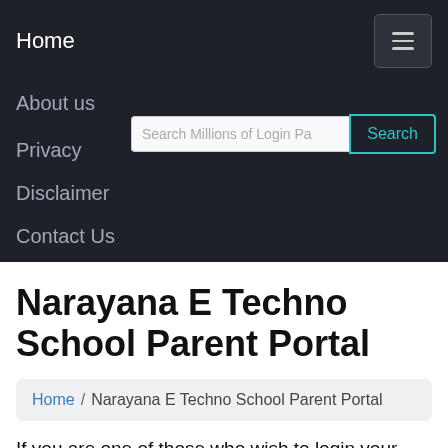Home
About us
Privacy
Disclaimer
Contact Us
Narayana E Techno School Parent Portal
Home / Narayana E Techno School Parent Portal
If you are one of those who wish to login your Narayana E Techno School Parent Portal official accounts online, you can try our guide from the below resources.